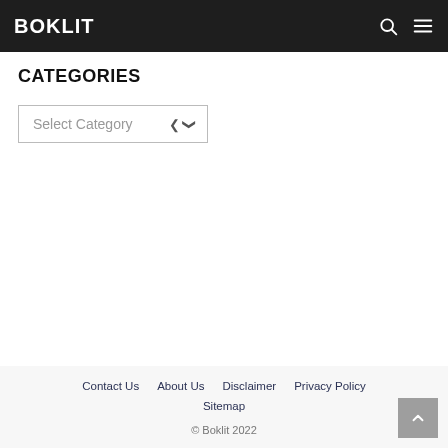BOKLIT
CATEGORIES
Select Category
Contact Us  About Us  Disclaimer  Privacy Policy  Sitemap  © Boklit 2022